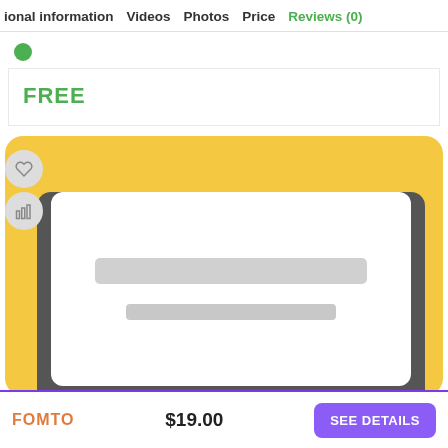ional information  Videos  Photos  Price  Reviews (0)
FREE
[Figure (screenshot): A mobile app card UI with a yellow background, dark gray rounded card, close (X) button, sidebar icons (heart and bar chart), white inner content area with placeholder gray bars, and a bottom action bar showing the FOMTO logo, $19.00 price, and SEE DETAILS button.]
$19.00
SEE DETAILS